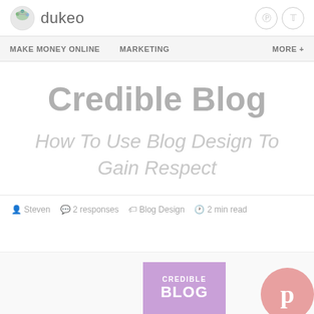dukeo
MAKE MONEY ONLINE   MARKETING   MORE +
Credible Blog
How To Use Blog Design To Gain Respect
Steven   2 responses   Blog Design   2 min read
[Figure (illustration): Blog post thumbnail showing 'CREDIBLE BLOG' text on a purple background, and a Pinterest icon circle in pink on the right]